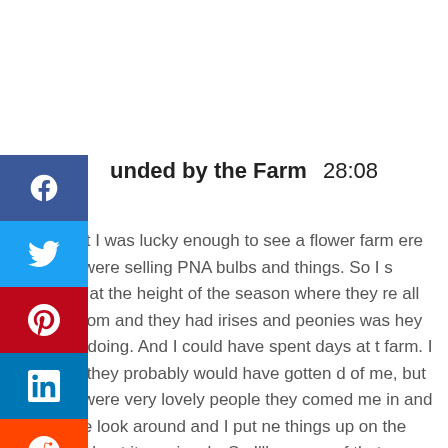unded by the Farm  28:08
n. But I was lucky enough to see a flower farm ere they were selling PNA bulbs and things. So I s there at the height of the season where they re all in bloom and they had irises and peonies was hey were doing. And I could have spent days at t farm. I think they probably would have gotten d of me, but they were very lovely people they comed me in and let me look around and I put ne things up on the blog about it previously. So I'll g some of that up as well, because I think it'd be e for people to discover some of those people here more locally,
[Figure (infographic): Social sharing sidebar with Facebook, Twitter, Pinterest, LinkedIn, Reddit, and Email buttons]